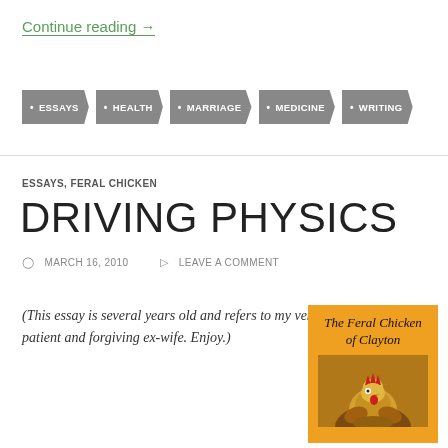Continue reading →
ESSAYS
HEALTH
MARRIAGE
MEDICINE
WRITING
ESSAYS, FERAL CHICKEN
DRIVING PHYSICS
MARCH 16, 2010   LEAVE A COMMENT
(This essay is several years old and refers to my very patient and forgiving ex-wife. Enjoy.)
[Figure (illustration): Book cover: 'The Feral Chicken of Clayton' with orange background and stylized chicken image]